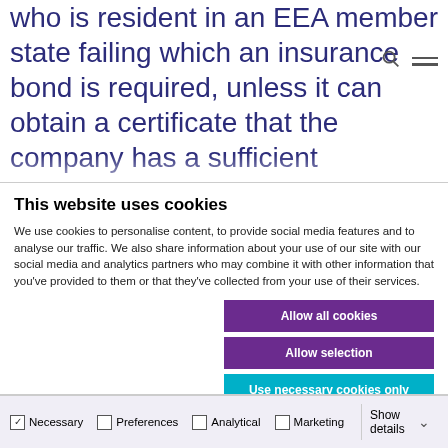who is resident in an EEA member state failing which an insurance bond is required, unless it can obtain a certificate that the company has a sufficient economic link with Ireland. A company relying on a UK-resident director will need to consider whether
This website uses cookies
We use cookies to personalise content, to provide social media features and to analyse our traffic. We also share information about your use of our site with our social media and analytics partners who may combine it with other information that you've provided to them or that they've collected from your use of their services.
Allow all cookies
Allow selection
Use necessary cookies only
Necessary | Preferences | Analytical | Marketing | Show details